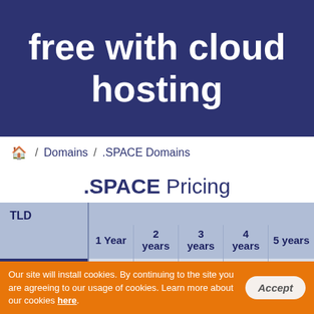free with cloud hosting
🏠 / Domains / .SPACE Domains
.SPACE Pricing
| TLD | 1 Year | 2 years | 3 years | 4 years | 5 years |
| --- | --- | --- | --- | --- | --- |
| Sole .SPACE regi | $19.50 | $39.00 | $58.50 | $78.00 | $97.50 |
Our site will install cookies. By continuing to the site you are agreeing to our usage of cookies. Learn more about our cookies here.